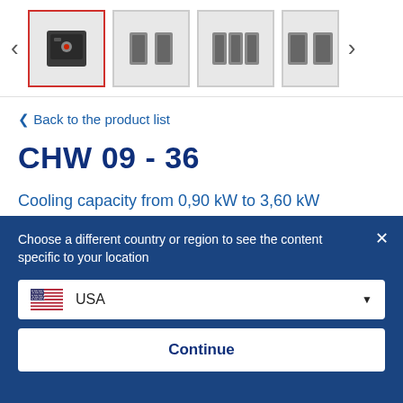[Figure (screenshot): Product image gallery strip with navigation arrows and 4 thumbnail images of the CHW 09-36 unit. First thumbnail is selected with red border.]
< Back to the product list
CHW 09 - 36
Cooling capacity from 0,90 kW to 3,60 kW
AVAILABLE OPTIONS
Choose a different country or region to see the content specific to your location
USA
Continue